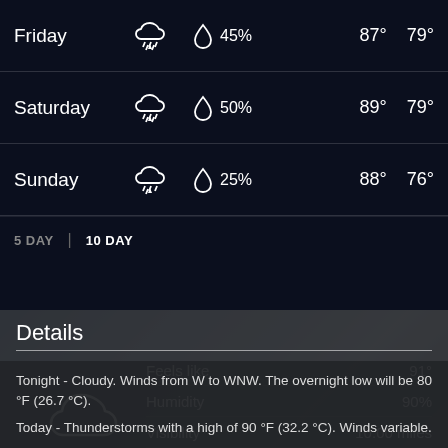| Day | Condition | Precipitation | High | Low |
| --- | --- | --- | --- | --- |
| Friday | Thunderstorms | 45% | 87° | 79° |
| Saturday | Thunderstorms | 50% | 89° | 79° |
| Sunday | Thunderstorms | 25% | 88° | 76° |
5 DAY | 10 DAY
Details
| Detail | Value |
| --- | --- |
| Feels like | 91° |
| Humidity | 90% |
| Visibility | 10.00 miles |
| UV Index | 0 (Low) |
Tonight - Cloudy. Winds from W to WNW. The overnight low will be 80 °F (26.7 °C).
Today - Thunderstorms with a high of 90 °F (32.2 °C). Winds variable.